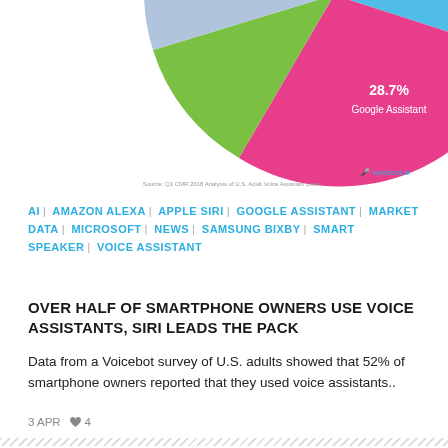[Figure (pie-chart): Pie chart showing voice assistant usage share. Large blue slice is Siri, pink/magenta slice is Google Assistant at 28.7%, green slice is Alexa, small slices for others.]
AI | AMAZON ALEXA | APPLE SIRI | GOOGLE ASSISTANT | MARKET DATA | MICROSOFT | NEWS | SAMSUNG BIXBY | SMART SPEAKER | VOICE ASSISTANT
OVER HALF OF SMARTPHONE OWNERS USE VOICE ASSISTANTS, SIRI LEADS THE PACK
Data from a Voicebot survey of U.S. adults showed that 52% of smartphone owners reported that they used voice assistants..
3 APR  ♥ 4